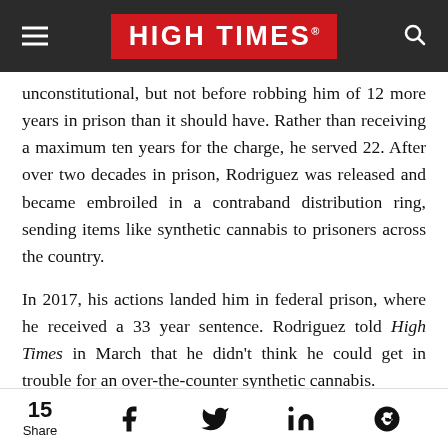HIGH TIMES
unconstitutional, but not before robbing him of 12 more years in prison than it should have. Rather than receiving a maximum ten years for the charge, he served 22. After over two decades in prison, Rodriguez was released and became embroiled in a contraband distribution ring, sending items like synthetic cannabis to prisoners across the country.
In 2017, his actions landed him in federal prison, where he received a 33 year sentence. Rodriguez told High Times in March that he didn't think he could get in trouble for an over-the-counter synthetic cannabis.
15 Share